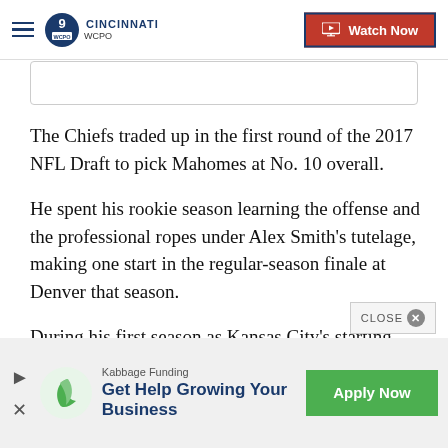WCPO 9 Cincinnati — Watch Now
The Chiefs traded up in the first round of the 2017 NFL Draft to pick Mahomes at No. 10 overall.
He spent his rookie season learning the offense and the professional ropes under Alex Smith's tutelage, making one start in the regular-season finale at Denver that season.
During his first season as Kansas City's starting quarterback after Smith was traded, Mahomes led
[Figure (screenshot): Advertisement banner: Kabbage Funding — Get Help Growing Your Business — Apply Now button]